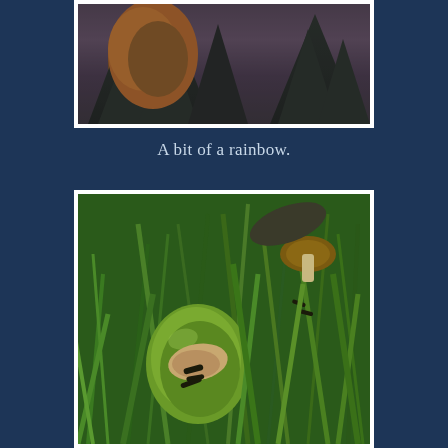[Figure (photo): Photograph of trees against a stormy dark sky, with an orange-leaved tree prominent on the left and dark evergreen trees silhouetted at the bottom]
A bit of a rainbow.
[Figure (photo): Close-up photograph of a green pear fallen in grass with wasps or insects feeding on it, and a mushroom visible in the background]